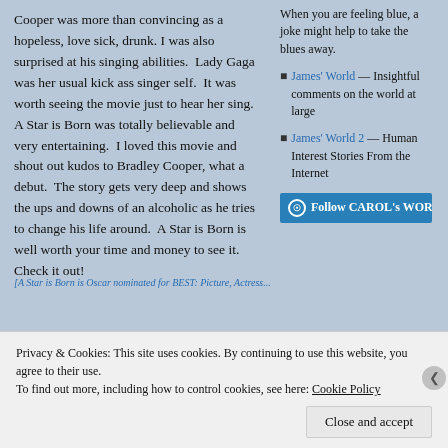Cooper was more than convincing as a hopeless, love sick, drunk. I was also surprised at his singing abilities.  Lady Gaga was her usual kick ass singer self.  It was worth seeing the movie just to hear her sing.  A Star is Born was totally believable and very entertaining.  I loved this movie and shout out kudos to Bradley Cooper, what a debut.  The story gets very deep and shows the ups and downs of an alcoholic as he tries to change his life around.  A Star is Born is well worth your time and money to see it.  Check it out!
When you are feeling blue, a joke might help to take the blues away.
James' World — Insightful comments on the world at large
James' World 2 — Human Interest Stories From the Internet
Follow CAROL's WOR
[A Star is Born is Oscar nominated for BEST: Picture, Actress...
META
Privacy & Cookies: This site uses cookies. By continuing to use this website, you agree to their use.
To find out more, including how to control cookies, see here: Cookie Policy
Close and accept